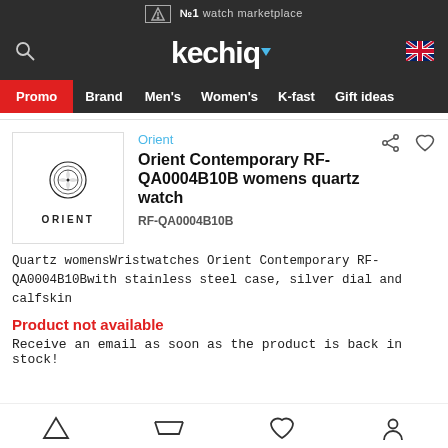№1 watch marketplace
[Figure (logo): Kechiq watch marketplace logo with dropdown arrow]
Promo  Brand  Men's  Women's  K-fast  Gift ideas
[Figure (logo): Orient brand logo with decorative emblem]
Orient
Orient Contemporary RF-QA0004B10B womens quartz watch
RF-QA0004B10B
Quartz womensWristwatches Orient Contemporary RF-QA0004B10Bwith stainless steel case, silver dial and calfskin
Product not available
Receive an email as soon as the product is back in stock!